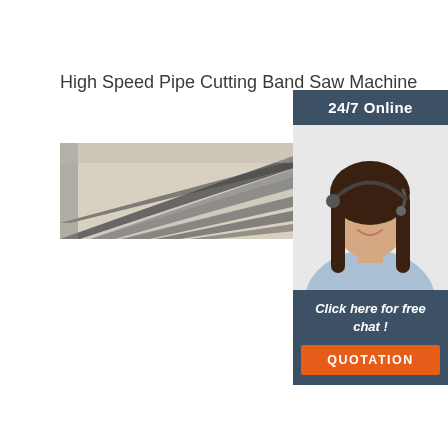High Speed Pipe Cutting Band Saw Machine
[Figure (photo): Industrial metal pipes or structural beams viewed diagonally, gray steel construction overhead shot]
[Figure (infographic): Sidebar widget with '24/7 Online' header, customer service representative photo (woman with headset), 'Click here for free chat!' text, and orange QUOTATION button]